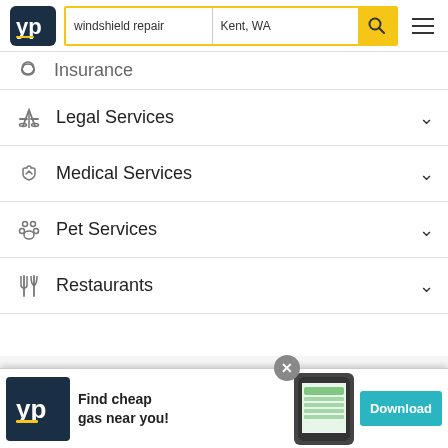[Figure (screenshot): YellowPages website header with YP logo, search fields for 'windshield repair' and 'Kent, WA', yellow search button with magnifying glass icon, and hamburger menu icon]
Insurance
Legal Services
Medical Services
Pet Services
Restaurants
About
Site Directory
City G
[Figure (screenshot): YP app advertisement banner: YP logo on dark background, text 'Find cheap gas near you!', phone mockup image, teal Download button, and close (X) button]